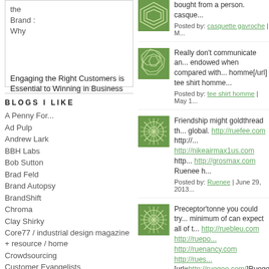the Brand : Why
Engaging the Right Customers is Essential to Winning in Business
BLOGS I LIKE
A Penny For...
Ad Pulp
Andrew Lark
BBH Labs
Bob Sutton
Brad Feld
Brand Autopsy
BrandShift
Chroma
Clay Shirky
Core77 / industrial design magazine + resource / home
Crowdsourcing
Customer Evangelists
bought from a person. casque...
Posted by: casquette gavroche | M...
Really don't communicate an... endowed when compared with... homme[/url] tee shirt homme...
Posted by: tee shirt homme | May 1...
Friendship might goldthread th... global. http://ruefee.com http://... http://nikeairmax1us.com http... http://grosmax.com Ruenee h...
Posted by: Ruenee | June 29, 2013...
Preceptor'tonne you could try... minimum of can expect all of t... http://ruebleu.com http://ruepo... http://ruenancy.com http://rues... [url=http://ruegee.com/]Ruege...
Posted by: Ruegee | June 29, 2013...